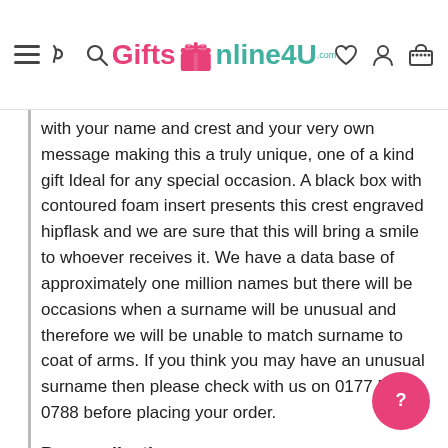GiftsOnline4U.com
with your name and crest and your very own message making this a truly unique, one of a kind gift Ideal for any special occasion. A black box with contoured foam insert presents this crest engraved hipflask and we are sure that this will bring a smile to whoever receives it. We have a data base of approximately one million names but there will be occasions when a surname will be unusual and therefore we will be unable to match surname to coat of arms. If you think you may have an unusual surname then please check with us on 0177 564 0788 before placing your order.
Personalisation:
Your personalised message will be engraved beneath the centrally positioned crest and you can enter your name into the ribbon motif above. Your message can be up to 60 characters over 2 lines (30 characters per line including spaces) and the name